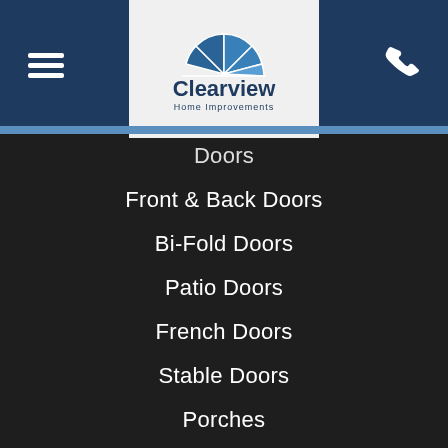[Figure (logo): Clearview Home Improvements logo with circular fan/window icon in blue, company name below]
Doors
Front & Back Doors
Bi-Fold Doors
Patio Doors
French Doors
Stable Doors
Porches
Conservatories
Orangeries
Home Extensions
Replacement Roofs